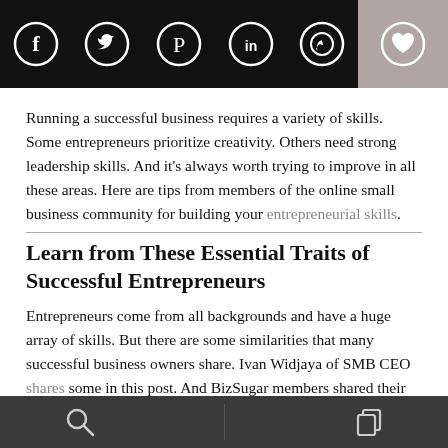[Figure (infographic): Social media sharing bar with icons for Facebook, Twitter, Pinterest, LinkedIn, WhatsApp on black background, and a heart/like button on grey background]
Running a successful business requires a variety of skills. Some entrepreneurs prioritize creativity. Others need strong leadership skills. And it's always worth trying to improve in all these areas. Here are tips from members of the online small business community for building your entrepreneurial skills.
Learn from These Essential Traits of Successful Entrepreneurs
Entrepreneurs come from all backgrounds and have a huge array of skills. But there are some similarities that many successful business owners share. Ivan Widjaya of SMB CEO shares some in this post. And BizSugar members shared their
[Figure (infographic): Bottom navigation bar with search icon and copy/layers icon on dark grey background]